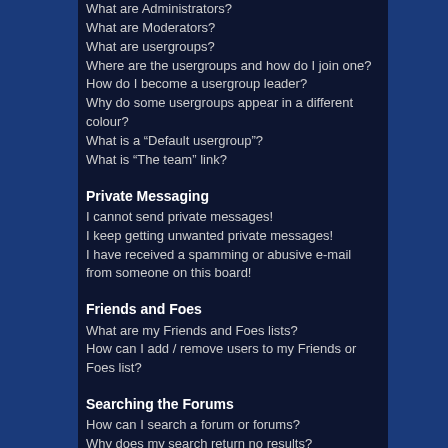What are Administrators?
What are Moderators?
What are usergroups?
Where are the usergroups and how do I join one?
How do I become a usergroup leader?
Why do some usergroups appear in a different colour?
What is a “Default usergroup”?
What is “The team” link?
Private Messaging
I cannot send private messages!
I keep getting unwanted private messages!
I have received a spamming or abusive e-mail from someone on this board!
Friends and Foes
What are my Friends and Foes lists?
How can I add / remove users to my Friends or Foes list?
Searching the Forums
How can I search a forum or forums?
Why does my search return no results?
Why does my search return a blank page!?
How do I search for members?
How can I find my own posts and topics?
Topic Subscriptions and Bookmarks
What is the difference between bookmarking and subscribing?
How do I subscribe to specific forums or topics?
How do I remove my subscriptions?